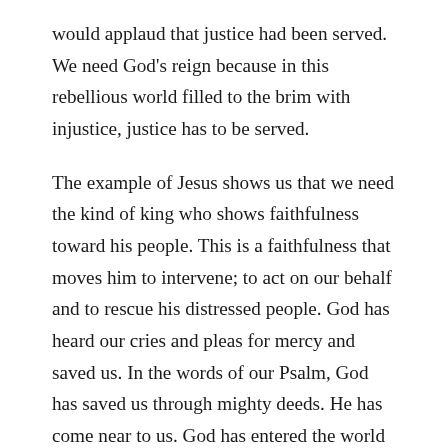would applaud that justice had been served. We need God's reign because in this rebellious world filled to the brim with injustice, justice has to be served.
The example of Jesus shows us that we need the kind of king who shows faithfulness toward his people. This is a faithfulness that moves him to intervene; to act on our behalf and to rescue his distressed people. God has heard our cries and pleas for mercy and saved us. In the words of our Psalm, God has saved us through mighty deeds. He has come near to us. God has entered the world in the person of Jesus Christ and made a full, perfect, and sufficient sacrifice, oblation and satisfaction for the sins of the whole world. The righteousness of God's reign is seen when he